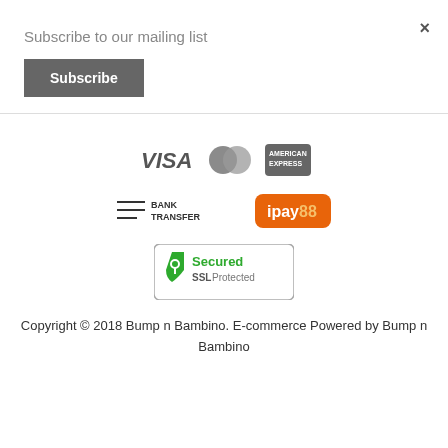×
Subscribe to our mailing list
Subscribe
[Figure (logo): Payment method logos: VISA, MasterCard, American Express]
[Figure (logo): Bank Transfer logo and ipay88 logo]
[Figure (logo): Secured SSL Protected badge]
Copyright © 2018 Bump n Bambino. E-commerce Powered by Bump n Bambino